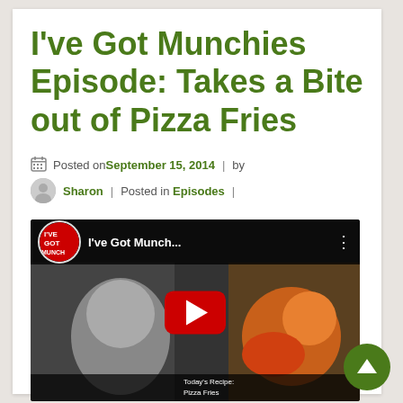I've Got Munchies Episode: Takes a Bite out of Pizza Fries
Posted on September 15, 2014 | by Sharon | Posted in Episodes |
[Figure (screenshot): YouTube video embed thumbnail for 'I've Got Munch...' showing a puppet character with food imagery and a red YouTube play button in the center]